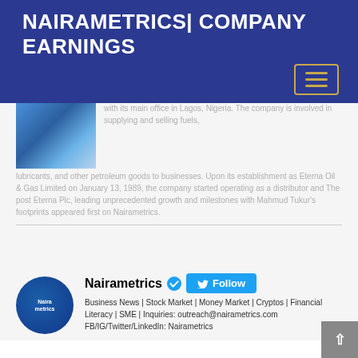NAIRAMETRICS| COMPANY EARNINGS
with its main office in Lagos, Nigeria. The company is involved in supplying and selling fuels, lubricants, and other petroleum goods to businesses. Upon its establishment as Eterna Oil & Gas Limited on January 13, 1989, the company started operating as a distributor and The post Eterna Plc, leading unprecedented growth and milestones with Mahmud Tukur's footprints appeared first on Nairametrics.
[Figure (photo): Photo of a person in a blue suit with a blue tie, partial view]
Nairametrics
Business News | Stock Market | Money Market | Cryptos | Financial Literacy | SME | Inquiries: outreach@nairametrics.com FB/IG/Twitter/LinkedIn: Nairametrics